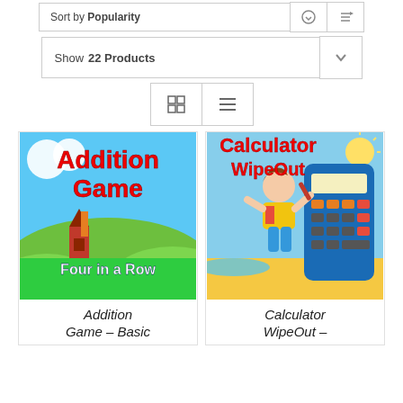Sort by Popularity
Show 22 Products
[Figure (screenshot): Grid/list view toggle buttons]
[Figure (illustration): Addition Game Four in a Row – colorful educational game cover with cartoon castle and green hills]
[Figure (illustration): Calculator WipeOut – colorful educational game cover with cartoon child on calculator]
Addition Game – Basic
Calculator WipeOut –